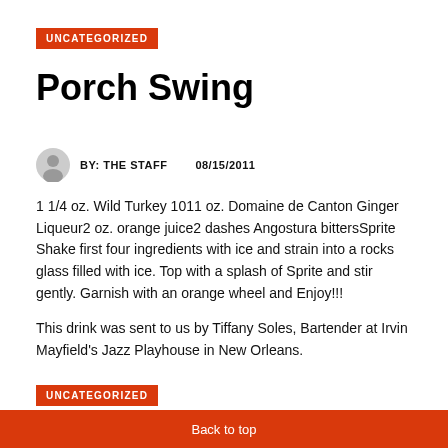UNCATEGORIZED
Porch Swing
BY: THE STAFF   08/15/2011
1 1/4 oz. Wild Turkey 1011 oz. Domaine de Canton Ginger Liqueur2 oz. orange juice2 dashes Angostura bittersSprite Shake first four ingredients with ice and strain into a rocks glass filled with ice. Top with a splash of Sprite and stir gently. Garnish with an orange wheel and Enjoy!!!
This drink was sent to us by Tiffany Soles, Bartender at Irvin Mayfield's Jazz Playhouse in New Orleans.
UNCATEGORIZED
Back to top